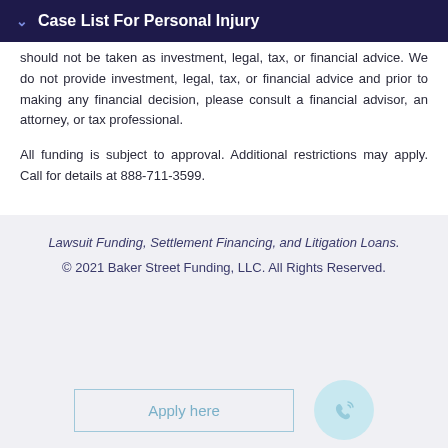Case List For Personal Injury
should not be taken as investment, legal, tax, or financial advice. We do not provide investment, legal, tax, or financial advice and prior to making any financial decision, please consult a financial advisor, an attorney, or tax professional.
All funding is subject to approval. Additional restrictions may apply. Call for details at 888-711-3599.
Lawsuit Funding, Settlement Financing, and Litigation Loans.
© 2021 Baker Street Funding, LLC. All Rights Reserved.